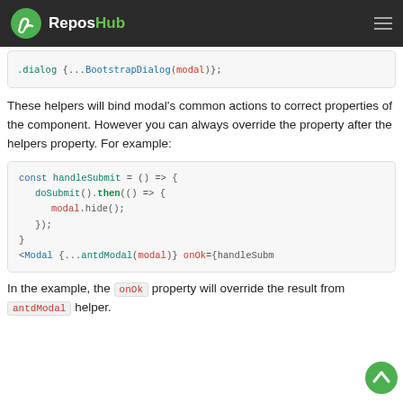ReposHub
[Figure (screenshot): Truncated code snippet showing: .dialog {...BootstrapDialog(modal)};]
These helpers will bind modal's common actions to correct properties of the component. However you can always override the property after the helpers property. For example:
[Figure (screenshot): Code block: const handleSubmit = () => { doSubmit().then(() => { modal.hide(); }); } <Modal {...antdModal(modal)} onOk={handleSubm]
In the example, the onOk property will override the result from antdModal helper.